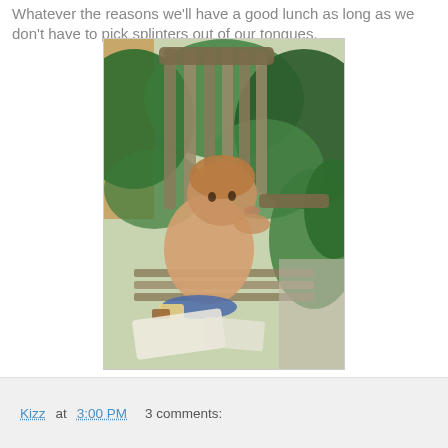Whatever the reasons we'll have a good lunch as long as we don't have to pick splinters out of our tongues.
[Figure (photo): A toddler sitting on a weathered wooden garden chair outdoors, leaning forward and appearing to chew on the armrest. The child is shirtless and sitting on a blue plate with pieces of cake scattered around. Green ferns and garden plants are visible in the background.]
Kizz at 3:00 PM    3 comments: